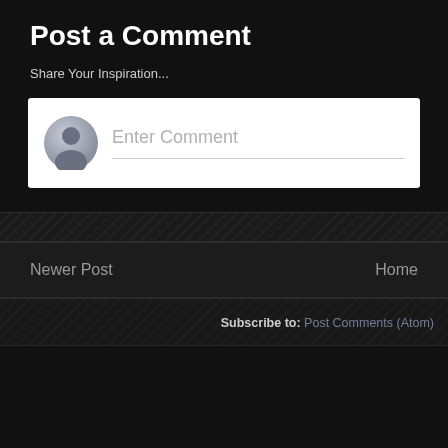Post a Comment
Share Your Inspiration...
[Figure (screenshot): Comment input box with user avatar icon and 'Enter Comment' placeholder text with underline]
Newer Post
Home
Subscribe to: Post Comments (Atom)
©2013 Nico Budi